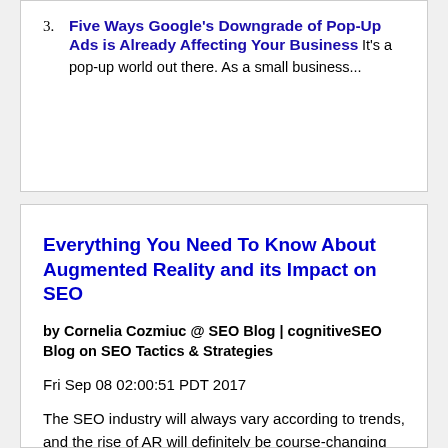3. Five Ways Google's Downgrade of Pop-Up Ads is Already Affecting Your Business It's a pop-up world out there. As a small business...
Everything You Need To Know About Augmented Reality and its Impact on SEO
by Cornelia Cozmiuc @ SEO Blog | cognitiveSEO Blog on SEO Tactics & Strategies
Fri Sep 08 02:00:51 PDT 2017
The SEO industry will always vary according to trends, and the rise of AR will definitely be course-changing for the SEO specialists and their content strategies.   An emerging field of technology, augmented reality or AR  seems to be somehow of a buzzword nowadays. Rumor has it that augmented reality is limitless and has